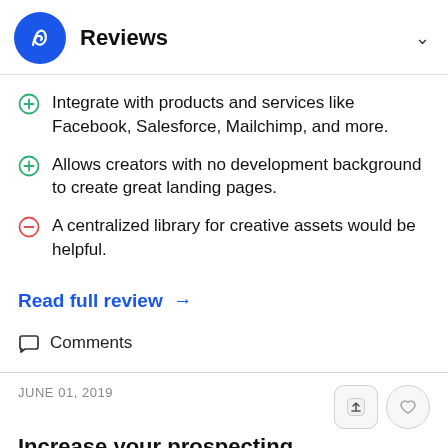Reviews
Integrate with products and services like Facebook, Salesforce, Mailchimp, and more.
Allows creators with no development background to create great landing pages.
A centralized library for creative assets would be helpful.
Read full review →
Comments
JUNE 01, 2019
Increase your prospecting funnel with Unbounce